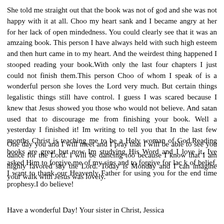She told me straight out that the book was not of god and she was not happy with it at all. Choo my heart sank and I became angry at her for her lack of open mindedness. You could clearly see that it was an amzaing book. This person I have always held with such high esteem and then hurt came in to my heart. And the weirdest thing happened I stooped reading your book.With only the last four chapters I just could not finish them.This person Choo of whom I speak of is a wonderful person she loves the Lord very much. But certain things legalistic things still have control. I guess I was scared because I knew that Jesus showed you those who would not believe. And satan used that to discourage me from finishing your book. Well a yesterday I finished it! Im writing to tell you that In the last few months Christ is teaching me to be a Holy woman of God.Reading books are great but now Im studying His Word and I love it. Ive asked Him to forgive me of my sins and to forgive for lac k of belief. I want to thank our Heavenly Father for using you for the end time prophesy.I do believe!
One day you and I will meet and I pray that I will be able to see you dance for the Lord. I will be dancing too because I know that I am highly favored say the Lord. Today is Monday and I can imagine your walk with Jesus was lovely.
Have a wonderful Day! Your sister in Christ, Jessica